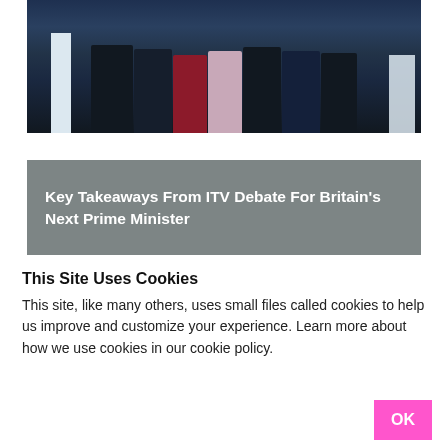[Figure (photo): Group of people standing at podiums in a TV debate setting, wearing formal attire against a dark studio background with blue lighting.]
Key Takeaways From ITV Debate For Britain's Next Prime Minister
This Site Uses Cookies
This site, like many others, uses small files called cookies to help us improve and customize your experience. Learn more about how we use cookies in our cookie policy.